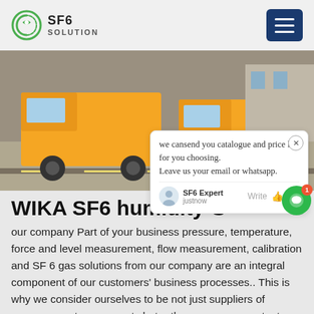SF6 SOLUTION
[Figure (photo): Yellow trucks parked on a dirt road near a building, viewed from above/front angle.]
WIKA SF6 humidity G
our company Part of your business pressure, temperature, force and level measurement, flow measurement, calibration and SF 6 gas solutions from our company are an integral component of our customers' business processes.. This is why we consider ourselves to be not just suppliers of measurement components but rather more a competent partner that offers